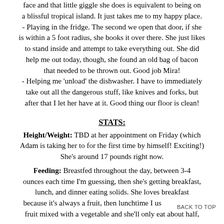face and that little giggle she does is equivalent to being on a blissful tropical island. It just takes me to my happy place. - Playing in the fridge. The second we open that door, if she is within a 5 foot radius, she books it over there. She just likes to stand inside and attempt to take everything out. She did help me out today, though, she found an old bag of bacon that needed to be thrown out. Good job Mira! - Helping me 'unload' the dishwasher. I have to immediately take out all the dangerous stuff, like knives and forks, but after that I let her have at it. Good thing our floor is clean!
STATS:
Height/Weight: TBD at her appointment on Friday (which Adam is taking her to for the first time by himself! Exciting!) She's around 17 pounds right now.
Feeding: Breastfed throughout the day, between 3-4 ounces each time I'm guessing, then she's getting breakfast, lunch, and dinner eating solids. She loves breakfast because it's always a fruit, then lunchtime I use fruit mixed with a vegetable and she'll only eat about half,
BACK TO TOP